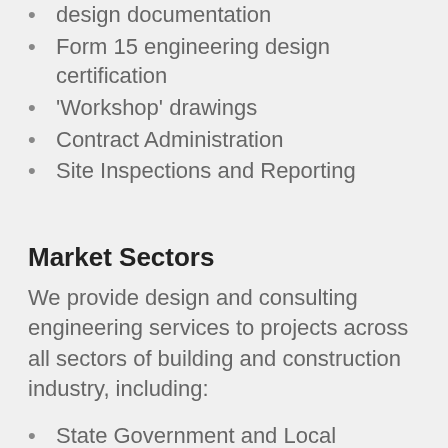design documentation
Form 15 engineering design certification
'Workshop' drawings
Contract Administration
Site Inspections and Reporting
Market Sectors
We provide design and consulting engineering services to projects across all sectors of building and construction industry, including:
State Government and Local Government and Community
Tertiary, Secondary and Primary